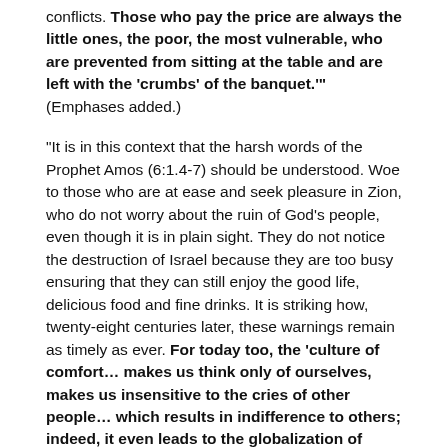conflicts. Those who pay the price are always the little ones, the poor, the most vulnerable, who are prevented from sitting at the table and are left with the 'crumbs' of the banquet.'" (Emphases added.)
"It is in this context that the harsh words of the Prophet Amos (6:1.4-7) should be understood. Woe to those who are at ease and seek pleasure in Zion, who do not worry about the ruin of God's people, even though it is in plain sight. They do not notice the destruction of Israel because they are too busy ensuring that they can still enjoy the good life, delicious food and fine drinks. It is striking how, twenty-eight centuries later, these warnings remain as timely as ever. For today too, the 'culture of comfort... makes us think only of ourselves, makes us insensitive to the cries of other people... which results in indifference to others; indeed, it even leads to the globalization of indifference.'" (Emphasis added.)